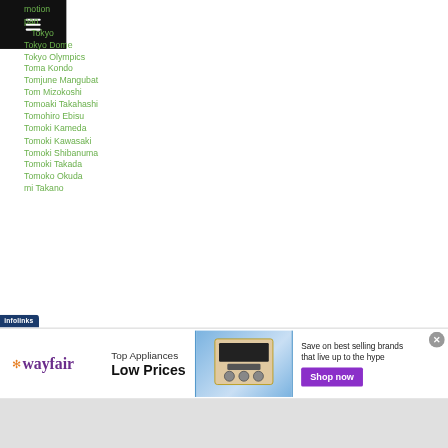…motion
…pan
…  Tokyo
Tokyo Dome
Tokyo Olympics
Toma Kondo
Tomjune Mangubat
Tom Mizokoshi
Tomoaki Takahashi
Tomohiro Ebisu
Tomoki Kameda
Tomoki Kawasaki
Tomoki Shibanuma
Tomoki Takada
Tomoko Okuda
…mi Takano
[Figure (screenshot): Wayfair advertisement banner: Top Appliances Low Prices, Save on best selling brands that live up to the hype, Shop now button]